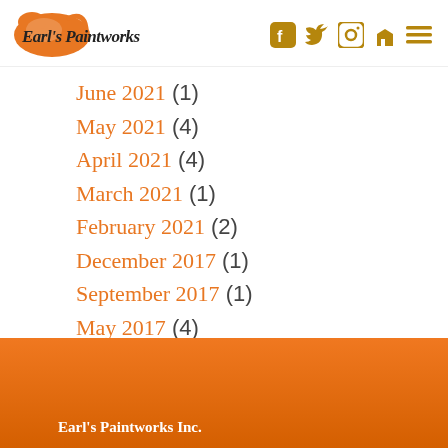Earl's Paintworks
June 2021 (1)
May 2021 (4)
April 2021 (4)
March 2021 (1)
February 2021 (2)
December 2017 (1)
September 2017 (1)
May 2017 (4)
Earl's Paintworks Inc.